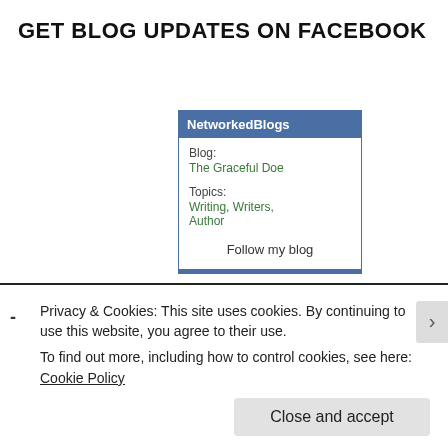GET BLOG UPDATES ON FACEBOOK
[Figure (infographic): NetworkedBlogs widget box with blue header, showing Blog: The Graceful Doe, Topics: Writing, Writers, Author, and a Follow my blog link]
Privacy & Cookies: This site uses cookies. By continuing to use this website, you agree to their use.
To find out more, including how to control cookies, see here: Cookie Policy
Close and accept